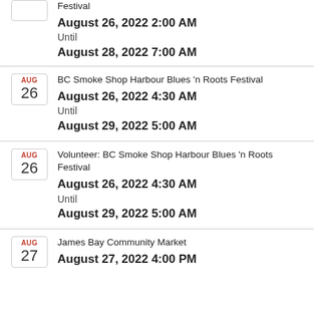Festival
August 26, 2022 2:00 AM
Until
August 28, 2022 7:00 AM
BC Smoke Shop Harbour Blues 'n Roots Festival
August 26, 2022 4:30 AM
Until
August 29, 2022 5:00 AM
Volunteer: BC Smoke Shop Harbour Blues 'n Roots Festival
August 26, 2022 4:30 AM
Until
August 29, 2022 5:00 AM
James Bay Community Market
August 27, 2022 4:00 PM